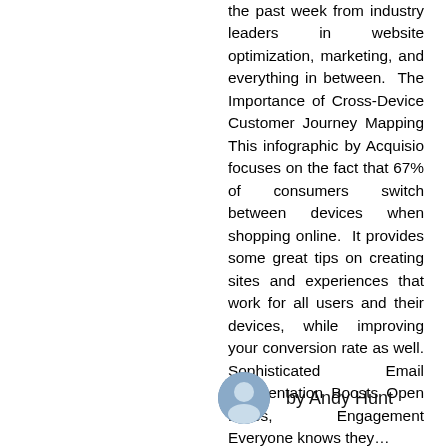the past week from industry leaders in website optimization, marketing, and everything in between. The Importance of Cross-Device Customer Journey Mapping This infographic by Acquisio focuses on the fact that 67% of consumers switch between devices when shopping online. It provides some great tips on creating sites and experiences that work for all users and their devices, while improving your conversion rate as well. Sophisticated Email Segmentation Boosts Open Rates, Engagement Everyone knows they...
by Andy Hunt